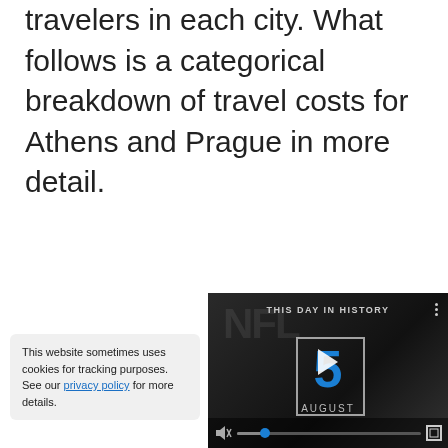travelers in each city. What follows is a categorical breakdown of travel costs for Athens and Prague in more detail.
[Figure (screenshot): Video player showing 'This Day in History' segment with NFL shield logo, date showing August 5, play button, and video controls including mute button, progress bar with blue dot indicator, and fullscreen button.]
This website sometimes uses cookies for tracking purposes. See our privacy policy for more details.